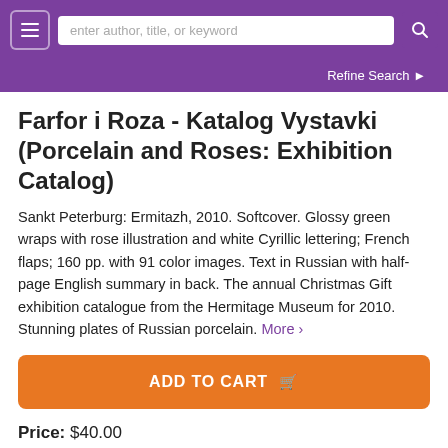enter author, title, or keyword
Refine Search
Farfor i Roza - Katalog Vystavki (Porcelain and Roses: Exhibition Catalog)
Sankt Peterburg: Ermitazh, 2010. Softcover. Glossy green wraps with rose illustration and white Cyrillic lettering; French flaps; 160 pp. with 91 color images. Text in Russian with half-page English summary in back. The annual Christmas Gift exhibition catalogue from the Hermitage Museum for 2010. Stunning plates of Russian porcelain. More ›
ADD TO CART
Price: $40.00
Item Details
Ask a Question